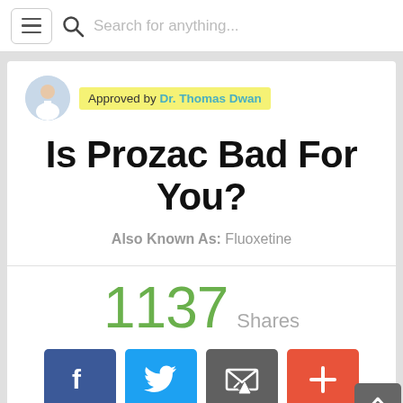Search for anything...
Approved by Dr. Thomas Dwan
Is Prozac Bad For You?
Also Known As: Fluoxetine
1137 Shares